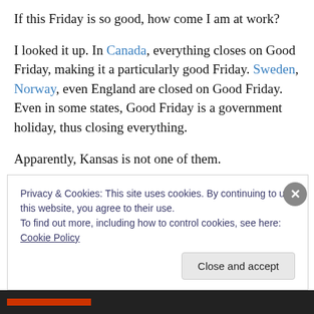If this Friday is so good, how come I am at work?
I looked it up. In Canada, everything closes on Good Friday, making it a particularly good Friday. Sweden, Norway, even England are closed on Good Friday. Even in some states, Good Friday is a government holiday, thus closing everything.
Apparently, Kansas is not one of them.
Why should those people get today and off while I am stuck at work? I thought we were supposed to be one of
Privacy & Cookies: This site uses cookies. By continuing to use this website, you agree to their use.
To find out more, including how to control cookies, see here: Cookie Policy
Close and accept